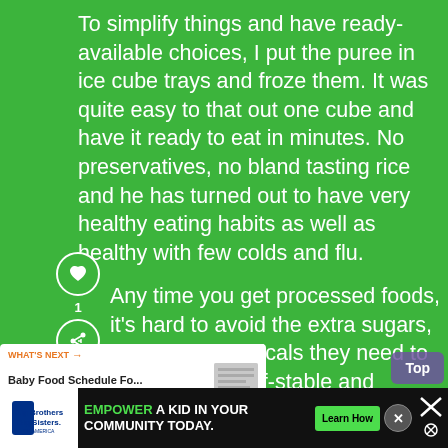To simplify things and have ready-available choices, I put the puree in ice cube trays and froze them. It was quite easy to that out one cube and have it ready to eat in minutes. No preservatives, no bland tasting rice and he has turned out to have very healthy eating habits as well as healthy with few colds and flu.
Any time you get processed foods, it’s hard to avoid the extra sugars, salts, and chemicals they need to make them shelf-stable and convenient.
[Figure (screenshot): UI overlay with heart/like button, share button, count of 1, and a 'What's Next' box showing 'Baby Food Schedule Fo...' with a small thumbnail image]
[Figure (screenshot): Bottom ad bar: Big Brothers Big Sisters logo on left, text 'EMPOWER A KID IN YOUR COMMUNITY TODAY.' with green 'Learn How' button, and close X buttons]